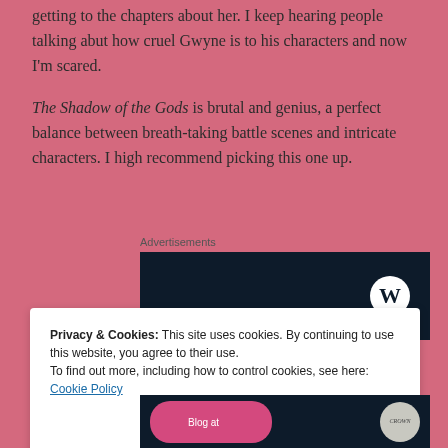getting to the chapters about her. I keep hearing people talking abut how cruel Gwyne is to his characters and now I'm scared.
The Shadow of the Gods is brutal and genius, a perfect balance between breath-taking battle scenes and intricate characters. I high recommend picking this one up.
Advertisements
[Figure (screenshot): Dark navy advertisement box with WordPress logo (white circle with W) in the bottom right corner.]
Privacy & Cookies: This site uses cookies. By continuing to use this website, you agree to their use.
To find out more, including how to control cookies, see here: Cookie Policy
Close and accept
[Figure (screenshot): Bottom of dark navy advertisement with pink button and gray circle logo on right.]